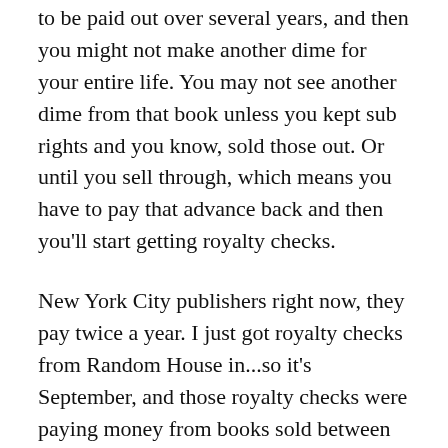to be paid out over several years, and then you might not make another dime for your entire life. You may not see another dime from that book unless you kept sub rights and you know, sold those out. Or until you sell through, which means you have to pay that advance back and then you'll start getting royalty checks.
New York City publishers right now, they pay twice a year. I just got royalty checks from Random House in...so it's September, and those royalty checks were paying money from books sold between December 2015 and June 2016.
Joanna: I just got one here on my desk from my German publisher and it's wrong, and I'm like,